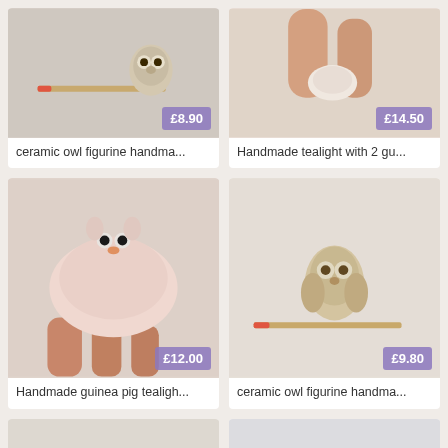[Figure (photo): Ceramic owl figurine with a match for scale, shown on light background with price badge £8.90]
ceramic owl figurine handma...
[Figure (photo): Handmade tealight being held by fingers, close-up view, with price badge £14.50]
Handmade tealight with 2 gu...
[Figure (photo): Handmade guinea pig tealight held in hand, pink bowl shape with animal face, price badge £12.00]
Handmade guinea pig tealigh...
[Figure (photo): Ceramic owl figurine next to a match for scale, on light fabric, price badge £9.80]
ceramic owl figurine handma...
[Figure (photo): Small ceramic cup with decorative motif, partially visible]
[Figure (photo): Small ceramic figurine, partially visible]